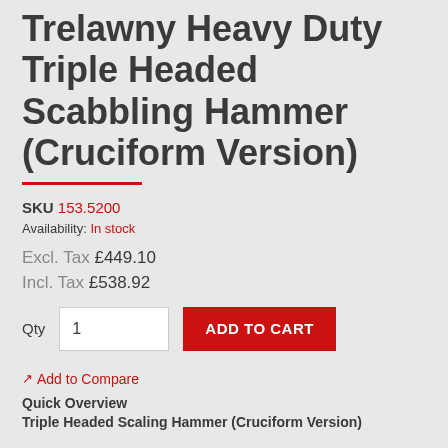Trelawny Heavy Duty Triple Headed Scabbling Hammer (Cruciform Version)
SKU 153.5200
Availability: In stock
Excl. Tax £449.10
Incl. Tax £538.92
Qty 1 ADD TO CART
Add to Compare
Quick Overview
Triple Headed Scaling Hammer (Cruciform Version)